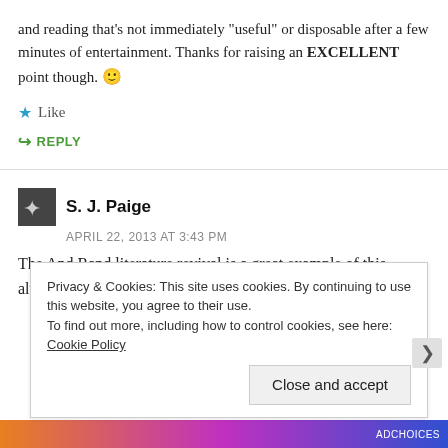and reading that's not immediately "useful" or disposable after a few minutes of entertainment. Thanks for raising an EXCELLENT point though. 🙂
★ Like
↪ REPLY
S. J. Paige
APRIL 22, 2013 AT 3:43 PM
The And Rand literature revival is a great example of this, although I feel like it was influenced by recent
Privacy & Cookies: This site uses cookies. By continuing to use this website, you agree to their use.
To find out more, including how to control cookies, see here: Cookie Policy
Close and accept